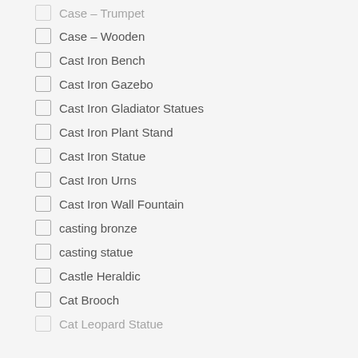Case – Trumpet (partial, cut off at top)
Case – Wooden
Cast Iron Bench
Cast Iron Gazebo
Cast Iron Gladiator Statues
Cast Iron Plant Stand
Cast Iron Statue
Cast Iron Urns
Cast Iron Wall Fountain
casting bronze
casting statue
Castle Heraldic
Cat Brooch
Cat Leopard Statue (partial, cut off at bottom)